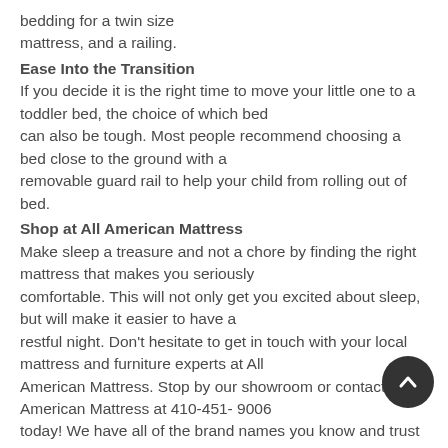bedding for a twin size mattress, and a railing.
Ease Into the Transition
If you decide it is the right time to move your little one to a toddler bed, the choice of which bed can also be tough. Most people recommend choosing a bed close to the ground with a removable guard rail to help your child from rolling out of bed.
Shop at All American Mattress
Make sleep a treasure and not a chore by finding the right mattress that makes you seriously comfortable. This will not only get you excited about sleep, but will make it easier to have a restful night. Don't hesitate to get in touch with your local mattress and furniture experts at All American Mattress. Stop by our showroom or contact All American Mattress at 410-451- 9006 today! We have all of the brand names you know and trust at affordable prices. With the area's only commission-free sales staff, All American Mattress' staff members will help you pick out the right bed for your comfort and budget.
To avoid this, buy a toddler bedding, children's child...